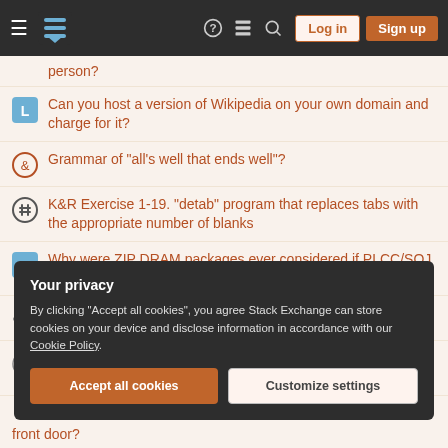Stack Exchange navigation bar with Log in and Sign up buttons
person? (partial, top)
Can you host a version of Wikipedia on your own domain and charge for it?
Grammar of "all's well that ends well"?
K&R Exercise 1-19. "detab" program that replaces tabs with the appropriate number of blanks
Why were ZIP DRAM packages ever considered if PLCC/SOJ sockets were available?
What is a "formal" dimer?
Why does Éowyn shieldmaiden of Rohan "not desire the speech of living men"?
Your privacy
By clicking "Accept all cookies", you agree Stack Exchange can store cookies on your device and disclose information in accordance with our Cookie Policy.
Accept all cookies  Customize settings
front door? (partial, bottom)